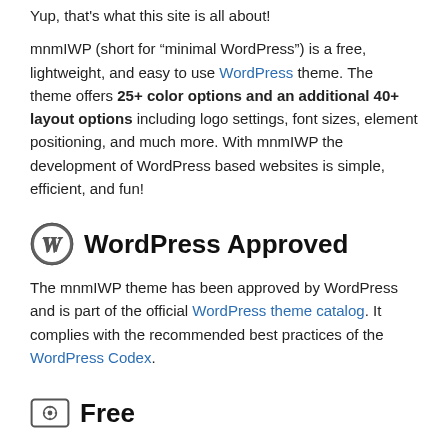Yup, that's what this site is all about!
mnmIWP (short for “minimal WordPress”) is a free, lightweight, and easy to use WordPress theme. The theme offers 25+ color options and an additional 40+ layout options including logo settings, font sizes, element positioning, and much more. With mnmIWP the development of WordPress based websites is simple, efficient, and fun!
WordPress Approved
The mnmIWP theme has been approved by WordPress and is part of the official WordPress theme catalog. It complies with the recommended best practices of the WordPress Codex.
Free